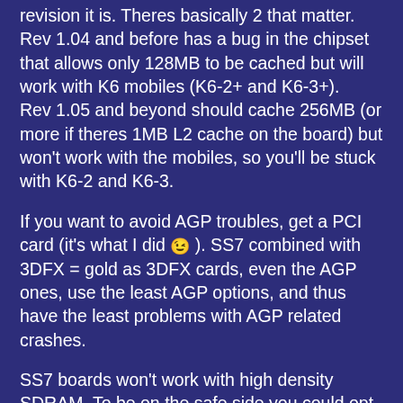revision it is. Theres basically 2 that matter. Rev 1.04 and before has a bug in the chipset that allows only 128MB to be cached but will work with K6 mobiles (K6-2+ and K6-3+). Rev 1.05 and beyond should cache 256MB (or more if theres 1MB L2 cache on the board) but won't work with the mobiles, so you'll be stuck with K6-2 and K6-3.
If you want to avoid AGP troubles, get a PCI card (it's what I did 😉 ). SS7 combined with 3DFX = gold as 3DFX cards, even the AGP ones, use the least AGP options, and thus have the least problems with AGP related crashes.
SS7 boards won't work with high density SDRAM. To be on the safe side you could opt for using 256MB DIMM's with 16 chips as you'll run the risk, if using 256MB with 8 chips (on 1 side usually) that only half the memory will be seen.
Theres a 3rd SS7 chipset, the SiS 530. It has no AGP but will support 133Mhz fsb (even though on many boards you'll